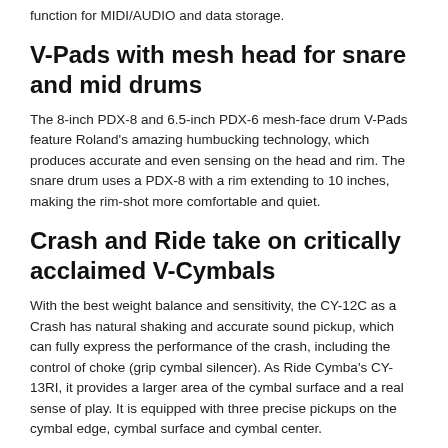function for MIDI/AUDIO and data storage.
V-Pads with mesh head for snare and mid drums
The 8-inch PDX-8 and 6.5-inch PDX-6 mesh-face drum V-Pads feature Roland's amazing humbucking technology, which produces accurate and even sensing on the head and rim. The snare drum uses a PDX-8 with a rim extending to 10 inches, making the rim-shot more comfortable and quiet.
Crash and Ride take on critically acclaimed V-Cymbals
With the best weight balance and sensitivity, the CY-12C as a Crash has natural shaking and accurate sound pickup, which can fully express the performance of the crash, including the control of choke (grip cymbal silencer). As Ride Cymba's CY-13RI, it provides a larger area of the cymbal surface and a real sense of play. It is equipped with three precise pickups on the cymbal edge, cymbal surface and cymbal center.
S...ll...d...d Hi-h...d...